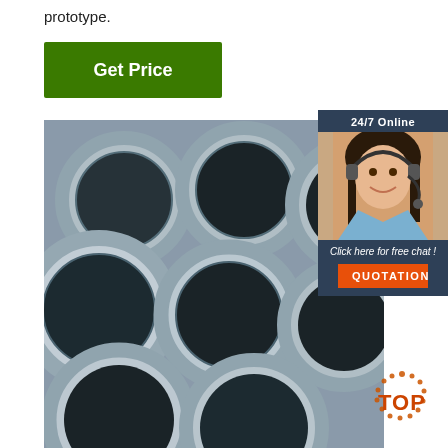prototype.
[Figure (other): Green 'Get Price' button]
[Figure (photo): Stack of large steel cylindrical pipes viewed from the ends, showing hollow circular cross-sections, silver-gray metallic finish]
[Figure (other): 24/7 Online chat widget with photo of woman with headset, 'Click here for free chat!' text and orange QUOTATION button]
[Figure (other): Orange and brown 'TOP' badge/logo in bottom right corner]